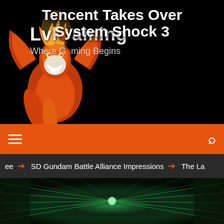[Figure (logo): LvlGaming website header with phoenix mascot logo on black background. Logo text reads 'LvlGaming' with tagline 'Where Gaming Begins']
LvlGaming — Where Gaming Begins
[Figure (screenshot): Orange navigation bar with hamburger menu icon on left and search icon on right]
ee ➔ SD Gundam Battle Alliance Impressions ➔ The La
[Figure (photo): Dark sci-fi tunnel/corridor with green glowing circuitry lines converging to a central light source. Article hero image for 'Tencent Takes Over System Shock 3']
Tencent Takes Over System Shock 3